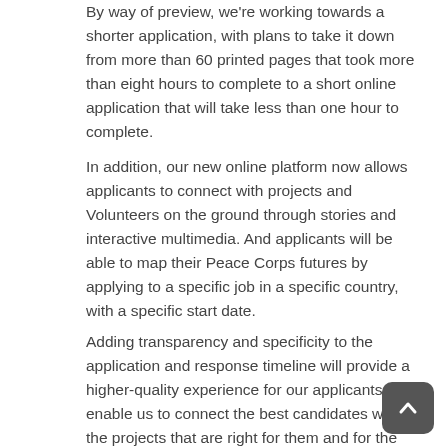By way of preview, we're working towards a shorter application, with plans to take it down from more than 60 printed pages that took more than eight hours to complete to a short online application that will take less than one hour to complete.
In addition, our new online platform now allows applicants to connect with projects and Volunteers on the ground through stories and interactive multimedia. And applicants will be able to map their Peace Corps futures by applying to a specific job in a specific country, with a specific start date.
Adding transparency and specificity to the application and response timeline will provide a higher-quality experience for our applicants, and enable us to connect the best candidates with the projects that are right for them and for the host countries and communities we serve.